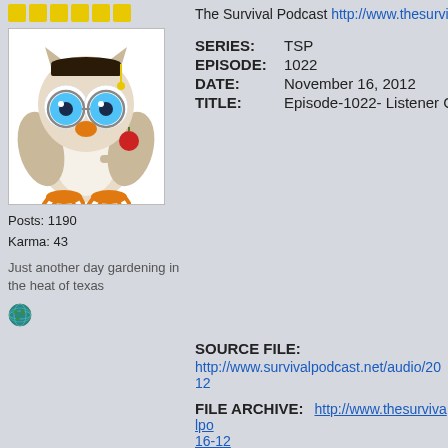[Figure (illustration): Forum user avatar: cartoon owl wearing graduation cap with large blue glasses, orange beak and feet, holding a red apple]
Posts: 1190
Karma: 43
Just another day gardening in the heat of texas
[Figure (illustration): Globe emoji icon]
The Survival Podcast http://www.thesurvivalpodcast.com
SERIES:    TSP
EPISODE:  1022
DATE:       November 16, 2012
TITLE:       Episode-1022- Listener Calls
SOURCE FILE:
http://www.survivalpodcast.net/audio/2012...
FILE ARCHIVE:   http://www.thesurvivalpodcast... 16-12